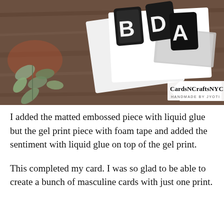[Figure (photo): Photo of birthday card making supplies on a wooden surface, showing black embossed letter cutouts spelling partial 'BIRTHDAY', silver foil elements, white card panels, and eucalyptus leaves. A watermark label reads 'CardsNCraftsNYC HANDMADE BY JYOTI' in the lower right.]
I added the matted embossed piece with liquid glue but the gel print piece with foam tape and added the sentiment with liquid glue on top of the gel print.
This completed my card. I was so glad to be able to create a bunch of masculine cards with just one print.